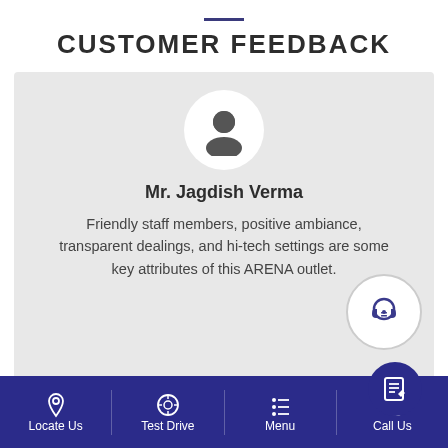CUSTOMER FEEDBACK
[Figure (illustration): Customer feedback card with avatar silhouette, customer name Mr. Jagdish Verma, feedback quote text, chat support icon, and feedback button icon]
Mr. Jagdish Verma
Friendly staff members, positive ambiance, transparent dealings, and hi-tech settings are some key attributes of this ARENA outlet.
Locate Us   Test Drive   Menu   Call Us